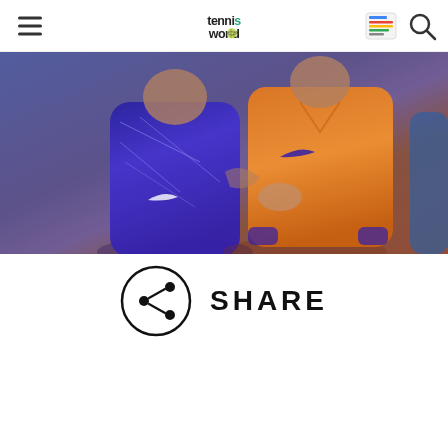Tennis World
[Figure (photo): Two tennis players in Nike outfits hugging on court — one in purple/blue geometric top, one in orange top with purple Nike swoosh]
SHARE